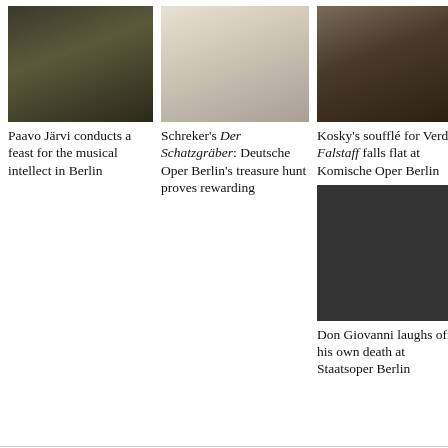[Figure (photo): Paavo Järvi conducting with musicians and flowers on stage]
Paavo Järvi conducts a feast for the musical intellect in Berlin
[Figure (photo): Opera scene from Der Schatzgräber at Deutsche Oper Berlin with singers at a table]
Schreker's Der Schatzgräber: Deutsche Oper Berlin's treasure hunt proves rewarding
[Figure (photo): Performer in costume with floral headdress for Falstaff at Komische Oper Berlin]
Kosky's soufflé for Verdi's Falstaff falls flat at Komische Oper Berlin
[Figure (photo): Dark stage scene from Don Giovanni at Staatsoper Berlin]
Don Giovanni laughs off his own death at Staatsoper Berlin